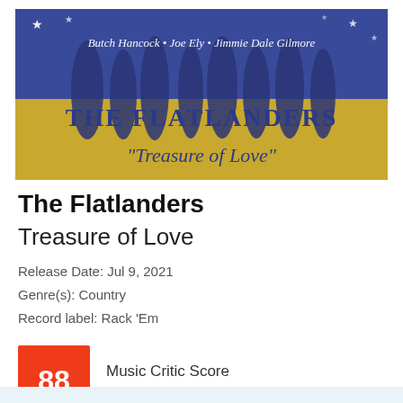[Figure (illustration): Album cover for The Flatlanders 'Treasure of Love'. Blue background with silhouettes of people and stars at top. Gold/yellow banner in middle with 'THE FLATLANDERS' in blue serif letters. Cursive text 'Treasure of Love' on gold background. Italic text at top reads 'Butch Hancock • Joe Ely • Jimmie Dale Gilmore']
The Flatlanders
Treasure of Love
Release Date: Jul 9, 2021
Genre(s): Country
Record label: Rack 'Em
88 Music Critic Score
How the Music Critic Score works